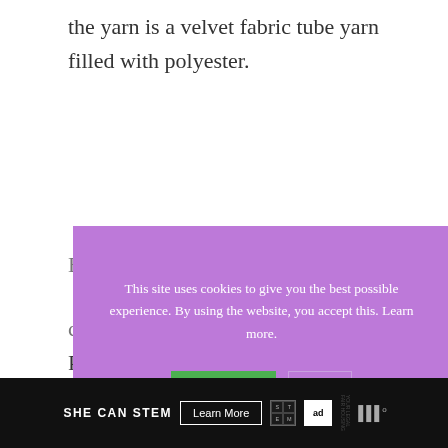the yarn is a velvet fabric tube yarn filled with polyester.
B...
c...
[Figure (screenshot): Cookie consent overlay with purple background. Text reads: 'This site uses cookies to give you the best possible experience. By using the website, you accept this. Learn more.' Two buttons: green 'Accept' button and outlined 'X' button.]
Pros
[Figure (infographic): Footer advertisement bar for 'SHE CAN STEM' campaign showing logo text, Learn More button, STEM grid logo, Ad Council logo, and microphone icon with dark background.]